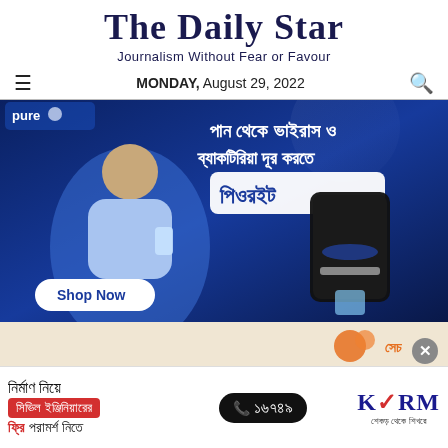[Figure (logo): The Daily Star newspaper masthead logo with star ornament]
Journalism Without Fear or Favour
MONDAY, August 29, 2022
[Figure (illustration): PureIt water purifier advertisement with Bengali text showing man holding glass of water and water purifier device. Text: পান থেকে ভাইরাস ও ব্যাকটিরিয়া দূর করতে পিওরইট. Shop Now button.]
[Figure (illustration): Partial advertisement banner with beige/orange background and orange logo partially visible]
[Figure (advertisement): KSRM advertisement banner: নির্মাণ নিয়ে সিভিল ইঞ্জিনিয়ারের ফ্রি পরামর্শ নিতে. Phone: ১৬৭৪৯. KSRM logo - শেকড় থেকে শিখরে]